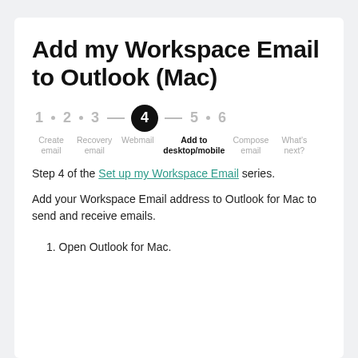Add my Workspace Email to Outlook (Mac)
1 · 2 · 3 — 4 — 5 · 6 | Create email · Recovery email · Webmail | Add to desktop/mobile | Compose email · What's next?
Step 4 of the Set up my Workspace Email series.
Add your Workspace Email address to Outlook for Mac to send and receive emails.
1. Open Outlook for Mac.